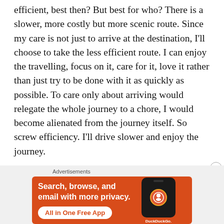efficient, best then? But best for who? There is a slower, more costly but more scenic route. Since my care is not just to arrive at the destination, I'll choose to take the less efficient route. I can enjoy the travelling, focus on it, care for it, love it rather than just try to be done with it as quickly as possible. To care only about arriving would relegate the whole journey to a chore, I would become alienated from the journey itself. So screw efficiency. I'll drive slower and enjoy the journey.
[Figure (infographic): DuckDuckGo advertisement banner with orange background. Text: 'Search, browse, and email with more privacy.' and 'All in One Free App' button. Right side shows a phone mockup with DuckDuckGo logo.]